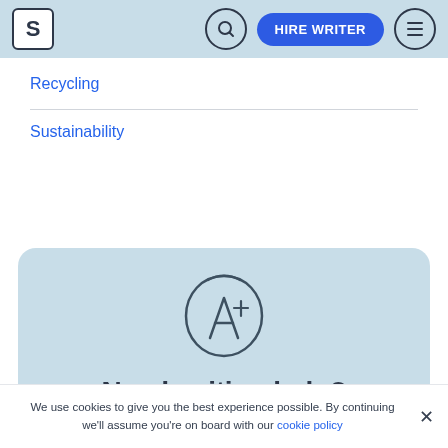S | [search] HIRE WRITER [menu]
Recycling
Sustainability
[Figure (illustration): A+ grade symbol drawn in a hand-drawn style inside a circle, on a light blue card background with the text 'Need writing help?' below it]
Need writing help?
We use cookies to give you the best experience possible. By continuing we'll assume you're on board with our cookie policy